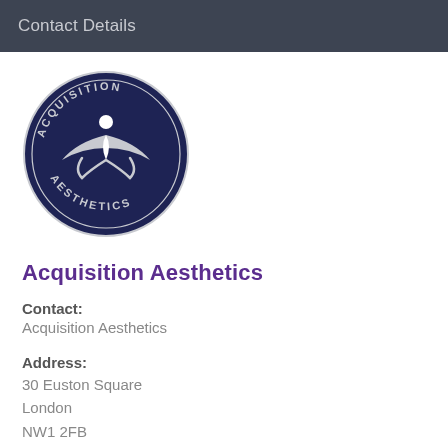Contact Details
[Figure (logo): Circular dark navy blue logo for Acquisition Aesthetics with text 'ACQUISITION' on top arc and 'AESTHETICS' on bottom arc, featuring a stylized person/leaf design in white in the center]
Acquisition Aesthetics
Contact:
Acquisition Aesthetics
Address:
30 Euston Square
London
NW1 2FB
Telephone: